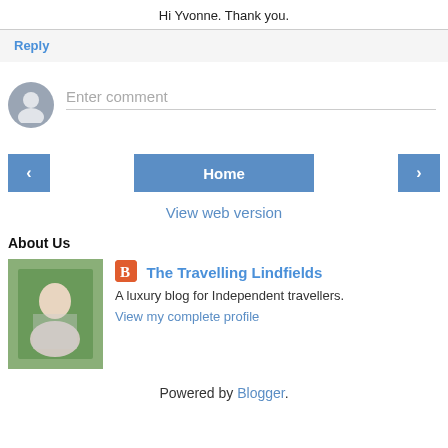Hi Yvonne. Thank you.
Reply
[Figure (illustration): User avatar placeholder circle with silhouette icon, next to an 'Enter comment' input field]
[Figure (screenshot): Navigation buttons: left arrow, Home button, right arrow]
View web version
About Us
[Figure (photo): Two people standing together outdoors, profile photo for The Travelling Lindfields blog]
The Travelling Lindfields
A luxury blog for Independent travellers.
View my complete profile
Powered by Blogger.